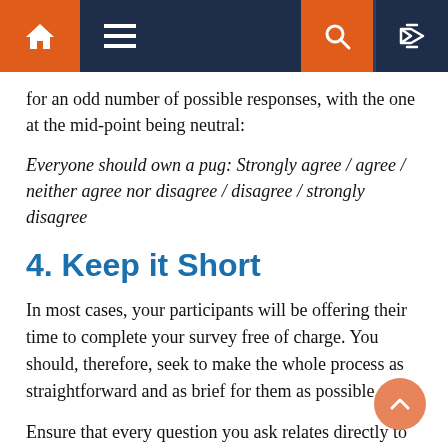Navigation bar with home, menu, search, and random icons
for an odd number of possible responses, with the one at the mid-point being neutral:
Everyone should own a pug: Strongly agree / agree / neither agree nor disagree / disagree / strongly disagree
4. Keep it Short
In most cases, your participants will be offering their time to complete your survey free of charge. You should, therefore, seek to make the whole process as straightforward and as brief for them as possible.
Ensure that every question you ask relates directly to the survey's objectives. Only ask for demographic information (e.g., age, occupation) if it's relevant to your research.